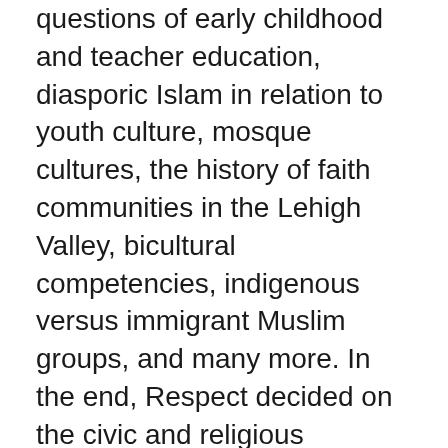questions of early childhood and teacher education, diasporic Islam in relation to youth culture, mosque cultures, the history of faith communities in the Lehigh Valley, bicultural competencies, indigenous versus immigrant Muslim groups, and many more. In the end, Respect decided on the civic and religious identities of American Muslim youth as the Inaugural Academic Conference theme.
The conference was well-attended and well-received, and the high quality of papers and the salience of the conversations provoked in each of the panels filled conference